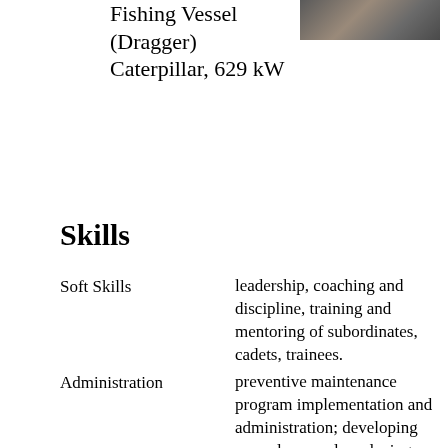Fishing Vessel (Dragger) Caterpillar, 629 kW
[Figure (photo): Photo of a fishing vessel/dragger ship]
Skills
Soft Skills
leadership, coaching and discipline, training and mentoring of subordinates, cadets, trainees.
Administration
preventive maintenance program implementation and administration; developing procedures and producing